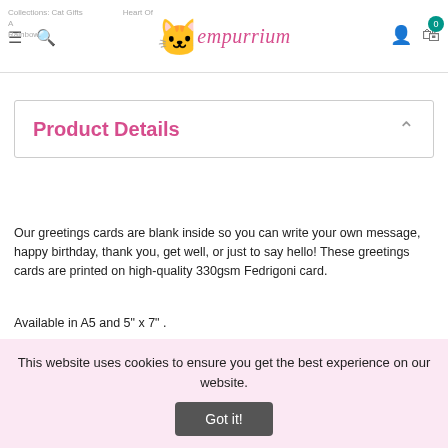Collections: Cat Gifts - empurrium - Heart Of A Rainbow.
Product Details
Our greetings cards are blank inside so you can write your own message, happy birthday, thank you, get well, or just to say hello! These greetings cards are printed on high-quality 330gsm Fedrigoni card.
Available in A5 and 5" x 7" .
High-quality 330 GSM Fedrigoni card
This website uses cookies to ensure you get the best experience on our website.